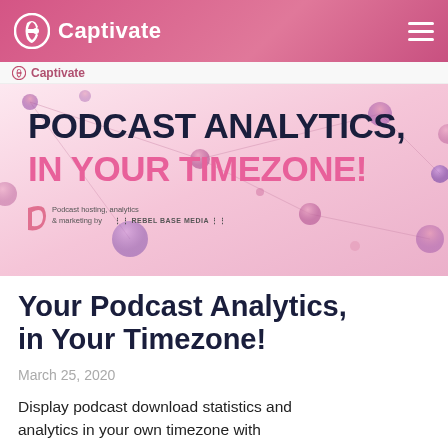Captivate
[Figure (illustration): Hero banner with pink gradient background, decorative floating spheres/dots connected by thin lines, bold text reading 'PODCAST ANALYTICS, IN YOUR TIMEZONE!' with a small podcast logo and 'Podcast hosting, analytics & marketing by REBEL BASE MEDIA' text at bottom left]
Your Podcast Analytics, in Your Timezone!
March 25, 2020
Display podcast download statistics and analytics in your own timezone with